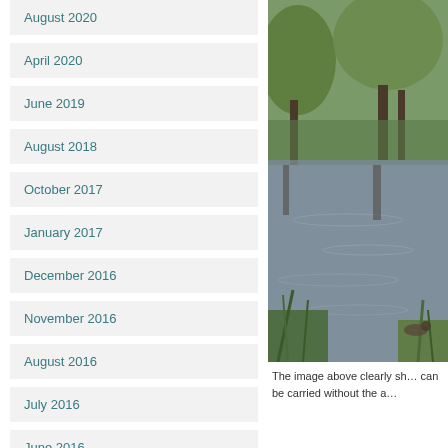August 2020
April 2020
June 2019
August 2018
October 2017
January 2017
December 2016
November 2016
August 2016
July 2016
June 2016
May 2016
[Figure (photo): Outdoor nature photograph showing a river or pond with calm water, green reeds in the foreground, and trees with spring foliage in the background.]
The image above clearly sh… can be carried without the a…